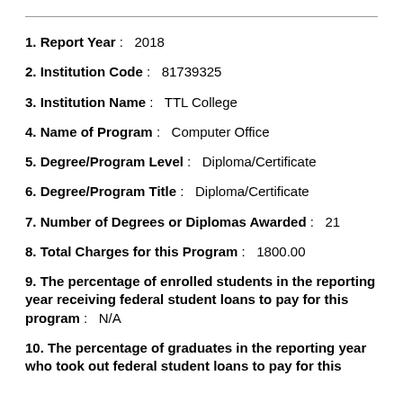1. Report Year: 2018
2. Institution Code: 81739325
3. Institution Name: TTL College
4. Name of Program: Computer Office
5. Degree/Program Level: Diploma/Certificate
6. Degree/Program Title: Diploma/Certificate
7. Number of Degrees or Diplomas Awarded: 21
8. Total Charges for this Program: 1800.00
9. The percentage of enrolled students in the reporting year receiving federal student loans to pay for this program: N/A
10. The percentage of graduates in the reporting year who took out federal student loans to pay for this